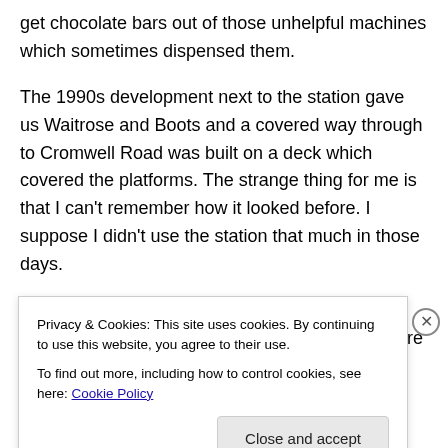get chocolate bars out of those unhelpful machines which sometimes dispensed them.
The 1990s development next to the station gave us Waitrose and Boots and a covered way through to Cromwell Road was built on a deck which covered the platforms. The strange thing for me is that I can't remember how it looked before. I suppose I didn't use the station that much in those days.
If you look at a modern picture of the station you can see that some effort has been made to restore the original
Privacy & Cookies: This site uses cookies. By continuing to use this website, you agree to their use.
To find out more, including how to control cookies, see here: Cookie Policy